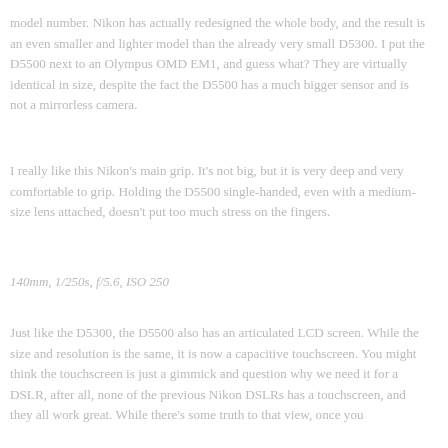model number. Nikon has actually redesigned the whole body, and the result is an even smaller and lighter model than the already very small D5300. I put the D5500 next to an Olympus OMD EM1, and guess what? They are virtually identical in size, despite the fact the D5500 has a much bigger sensor and is not a mirrorless camera.
I really like this Nikon's main grip. It's not big, but it is very deep and very comfortable to grip. Holding the D5500 single-handed, even with a medium-size lens attached, doesn't put too much stress on the fingers.
140mm, 1/250s, f/5.6, ISO 250
Just like the D5300, the D5500 also has an articulated LCD screen. While the size and resolution is the same, it is now a capacitive touchscreen. You might think the touchscreen is just a gimmick and question why we need it for a DSLR, after all, none of the previous Nikon DSLRs has a touchscreen, and they all work great. While there's some truth to that view, once you